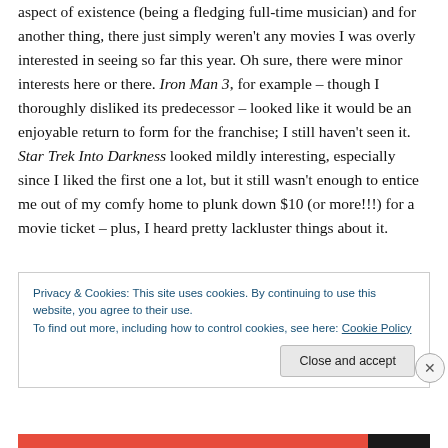aspect of existence (being a fledging full-time musician) and for another thing, there just simply weren't any movies I was overly interested in seeing so far this year. Oh sure, there were minor interests here or there. Iron Man 3, for example – though I thoroughly disliked its predecessor – looked like it would be an enjoyable return to form for the franchise; I still haven't seen it.  Star Trek Into Darkness looked mildly interesting, especially since I liked the first one a lot, but it still wasn't enough to entice me out of my comfy home to plunk down $10 (or more!!!) for a movie ticket – plus, I heard pretty lackluster things about it.
Privacy & Cookies: This site uses cookies. By continuing to use this website, you agree to their use.
To find out more, including how to control cookies, see here: Cookie Policy